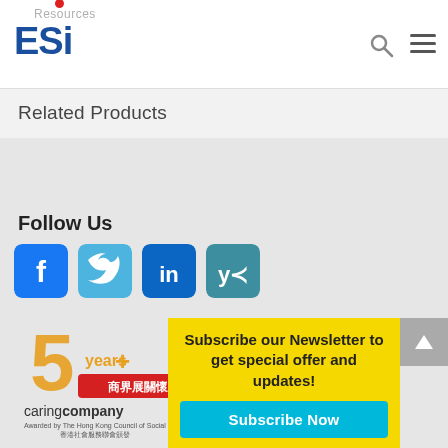Resources
[Figure (logo): ESI logo with blue text and red dot above the i]
Related Products
Follow Us
[Figure (illustration): Social media icons: Facebook, Twitter, LinkedIn, Yammer]
[Figure (logo): 5+ years caring company logo - Awarded by The Hong Kong Council of Social Service]
Subscribe our Newsletter to get special offer and updates!
Subscribe Now